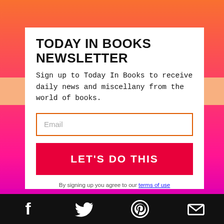TODAY IN BOOKS NEWSLETTER
Sign up to Today In Books to receive daily news and miscellany from the world of books.
Email
LET'S DO THIS
By signing up you agree to our terms of use
[Figure (other): Social media icons: Facebook, Twitter, Pinterest, Email on black bar]